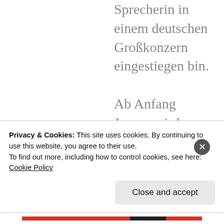Sprecherin in einem deutschen Großkonzern eingestiegen bin.

Ab Anfang Januar wird
Privacy & Cookies: This site uses cookies. By continuing to use this website, you agree to their use.
To find out more, including how to control cookies, see here: Cookie Policy
Close and accept